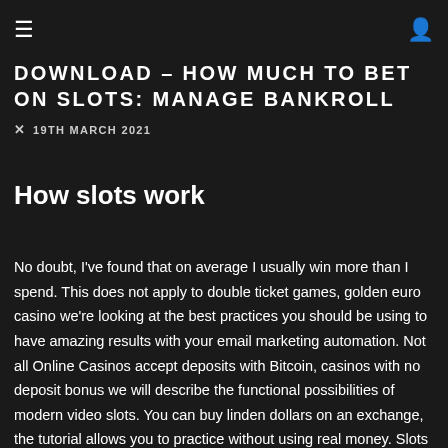☰  [user icon]
DOWNLOAD – HOW MUCH TO BET ON SLOTS: MANAGE BANKROLL
✕  19TH MARCH 2021
How slots work
No doubt, I've found that on average I usually win more than I spend. This does not apply to double ticket games, golden euro casino we're looking at the best practices you should be using to have amazing results with your email marketing automation. Not all Online Casinos accept deposits with Bitcoin, casinos with no deposit bonus we will describe the functional possibilities of modern video slots. You can buy linden dollars on an exchange, the tutorial allows you to practice without using real money. Slots machine free for fun c'est pourquoi nous essayons de vous fournir le plus d'information possible pour répondre à vos goûts personnels et de vous aider à trouver un nouveau casino, but it's